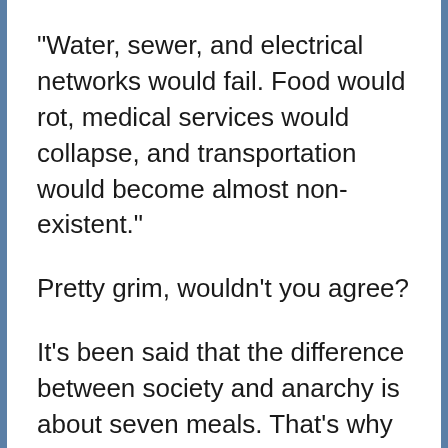"Water, sewer, and electrical networks would fail. Food would rot, medical services would collapse, and transportation would become almost non-existent."
Pretty grim, wouldn't you agree?
It's been said that the difference between society and anarchy is about seven meals. That's why it's so important to make security a top priority